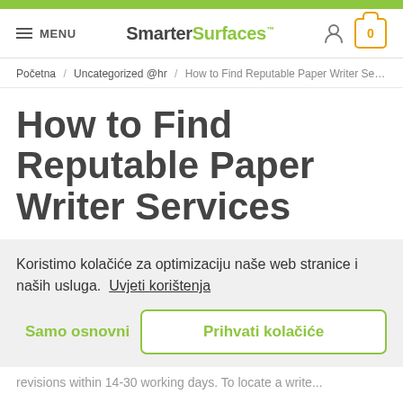[Figure (screenshot): Top green navigation bar]
MENU | SmarterSurfaces™ | user icon | cart 0
Početna / Uncategorized @hr / How to Find Reputable Paper Writer Services
How to Find Reputable Paper Writer Services
Koristimo kolačiće za optimizaciju naše web stranice i naših usluga.  Uvjeti korištenja
Samo osnovni   Prihvati kolačiće
revisions within 14-30 working days. To locate a writer...